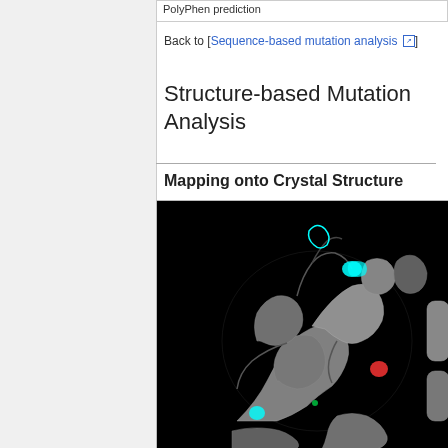PolyPhen prediction
Back to [Sequence-based mutation analysis ↗]
Structure-based Mutation Analysis
Mapping onto Crystal Structure
[Figure (photo): 3D protein crystal structure visualization on black background showing alpha-helices in grey ribbon representation with colored residue markers (cyan, red, yellow-green) indicating mutation sites.]